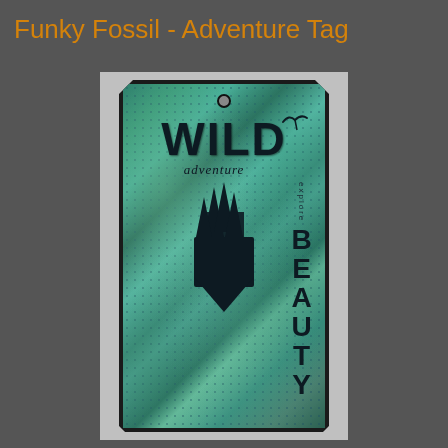Funky Fossil - Adventure Tag
[Figure (photo): A handcrafted art tag with a teal/green mixed-media background featuring stamped text 'WILD' in large bold letters, 'adventure' in script, a castle/forest silhouette in dark navy, 'explore' written vertically, and 'BEAUTY' in large bold vertical text. The tag has cut diagonal corners at the top and a hole at the top center.]